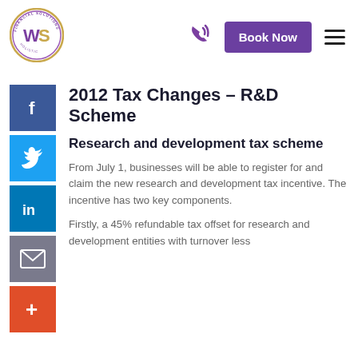[Figure (logo): WS Holistic Financial Solutions circular logo with purple and gold colors]
[Figure (illustration): Purple phone/call icon]
[Figure (other): Book Now button in purple]
[Figure (other): Hamburger menu icon (three horizontal lines)]
[Figure (other): Facebook social share button (blue square with f)]
[Figure (other): Twitter social share button (light blue square with bird)]
[Figure (other): LinkedIn social share button (dark blue square with in)]
[Figure (other): Email social share button (grey square with envelope)]
[Figure (other): Plus/add social share button (orange square with +)]
2012 Tax Changes – R&D Scheme
Research and development tax scheme
From July 1, businesses will be able to register for and claim the new research and development tax incentive. The incentive has two key components.
Firstly, a 45% refundable tax offset for research and development entities with turnover less